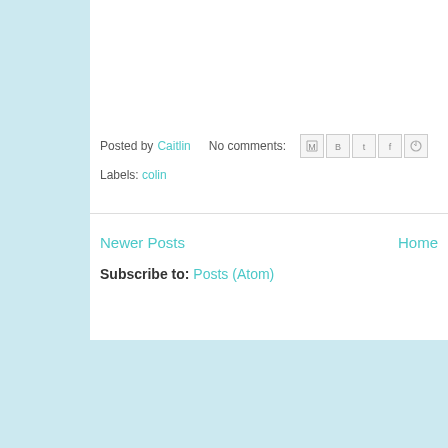[Figure (photo): Partial photo of a child wearing a green sweatshirt with a dinosaur graphic and a floral top visible at the top edge]
Posted by Caitlin   No comments:
Labels: colin
Newer Posts
Home
Subscribe to: Posts (Atom)